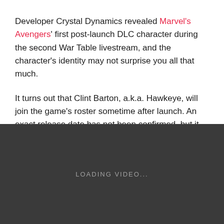Developer Crystal Dynamics revealed Marvel's Avengers' first post-launch DLC character during the second War Table livestream, and the character's identity may not surprise you all that much.
It turns out that Clint Barton, a.k.a. Hawkeye, will join the game's roster sometime after launch. An exact release date has not been confirmed, but it seems Hawkeye is getting added the Marvel's Avengers because of the fans.
[Figure (other): Video player placeholder with dark background showing 'LOADING VIDEO...' text in the center]